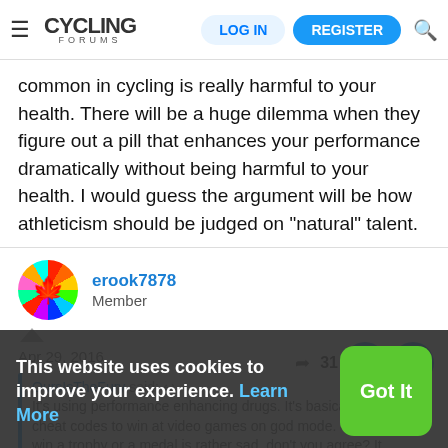CYCLING FORUMS — LOG IN | REGISTER
common in cycling is really harmful to your health. There will be a huge dilemma when they figure out a pill that enhances your performance dramatically without being harmful to your health. I would guess the argument will be how athleticism should be judged on "natural" talent.
erook7878
Member
Apr 29, 2016
OursIsTheFury said:
It's using performance enhancing drugs. It's basically using cheat codes to win at video games on god mode. Cheating to win a trophy or a medal is rather sad, don't you agree? It
This website uses cookies to improve your experience. Learn More